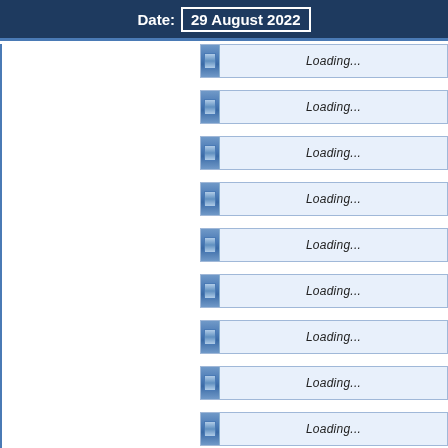Date: 29 August 2022
[Figure (screenshot): A web interface screenshot showing a header with 'Date: 29 August 2022' and a list of 12 loading indicator bars on the right side, each showing 'Loading...' text with a blue progress-style widget icon.]